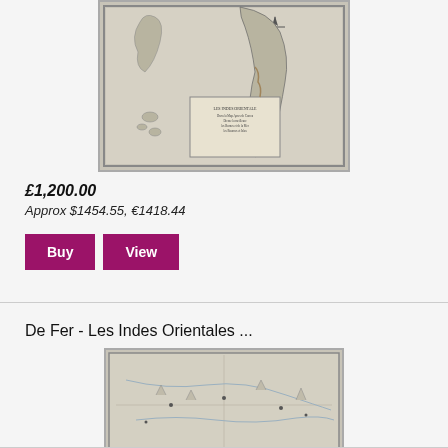[Figure (map): Antique map showing Les Indes Orientales, with illustrated coastlines, compass rose, and cartouche with text, displayed in a decorative border frame.]
£1,200.00
Approx $1454.55, €1418.44
Buy
View
De Fer - Les Indes Orientales ...
[Figure (map): Antique map partially shown, depicting Les Indes Orientales region with geographical features, rivers, and place names in a decorative border.]